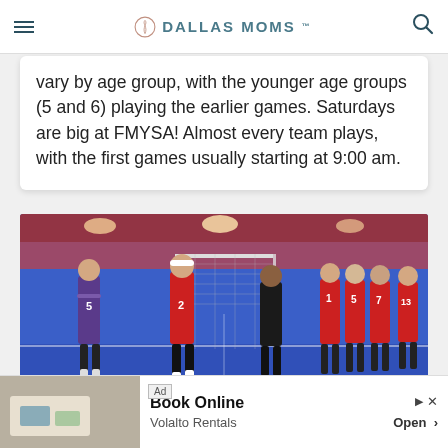DALLAS MOMS
vary by age group, with the younger age groups (5 and 6) playing the earlier games. Saturdays are big at FMYSA! Almost every team plays, with the first games usually starting at 9:00 am.
[Figure (photo): Girls volleyball teams on a blue court shaking hands after a match inside an indoor sports facility. Players wearing red and purple uniforms with numbers 1, 2, 5, 7, 13 visible.]
LoneStar Volleyball